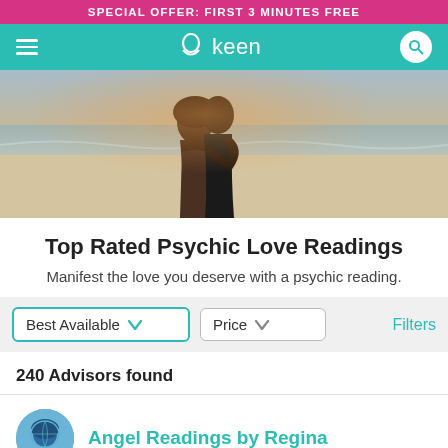SPECIAL OFFER: FIRST 3 MINUTES FREE
[Figure (screenshot): Keen logo navigation bar with hamburger menu and search icon on teal background]
[Figure (photo): Hero image of a happy couple embracing on a beach]
Top Rated Psychic Love Readings
Manifest the love you deserve with a psychic reading.
Best Available   Price   Filters
240 Advisors found
Angel Readings by Regina